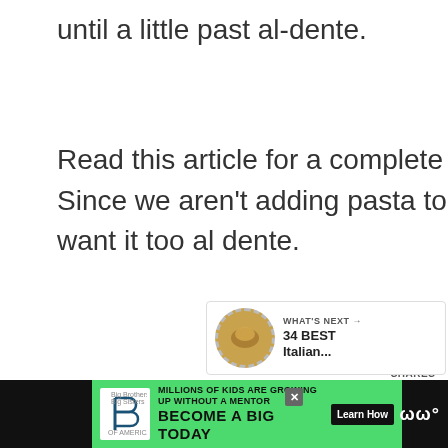until a little past al-dente. Read this article for a complete guide on how to cook pasta perfectly. Since we aren't adding pasta to a hot sauce to finish cooking we don't want it too al dente.
[Figure (infographic): Social share sidebar showing 37 shares count, Facebook button, heart/like button, comment count of 39, and share button]
[Figure (infographic): What's Next bar showing a food image thumbnail and text '34 BEST Italian...']
[Figure (infographic): Advertisement banner for Big Brothers Big Sisters: 'MILLIONS OF KIDS ARE GROWING UP WITHOUT A MENTOR. BECOME A BIG TODAY. Learn How']